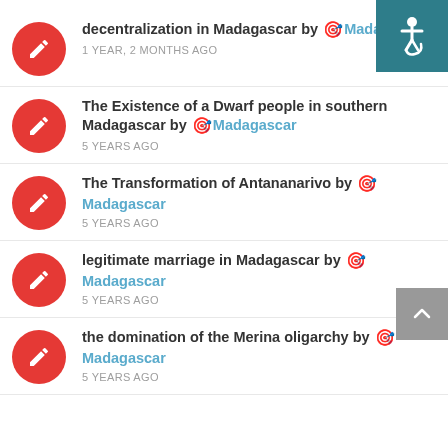decentralization in Madagascar by Madagascar 1 YEAR, 2 MONTHS AGO
The Existence of a Dwarf people in southern Madagascar by Madagascar 5 YEARS AGO
The Transformation of Antananarivo by Madagascar 5 YEARS AGO
legitimate marriage in Madagascar by Madagascar 5 YEARS AGO
the domination of the Merina oligarchy by Madagascar 5 YEARS AGO